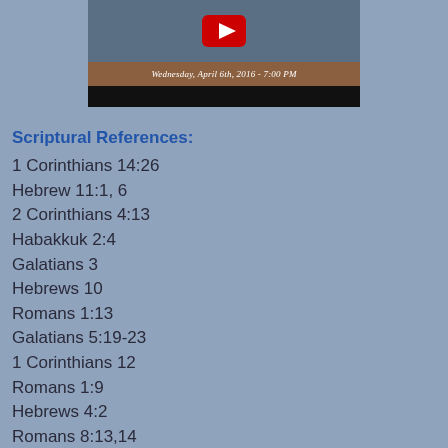[Figure (screenshot): Video thumbnail showing a person on a couch with a YouTube play button overlay and caption 'Wednesday, April 6th, 2016 - 7:00 PM']
Scriptural References:
1 Corinthians 14:26
Hebrew 11:1, 6
2 Corinthians 4:13
Habakkuk 2:4
Galatians 3
Hebrews 10
Romans 1:13
Galatians 5:19-23
1 Corinthians 12
Romans 1:9
Hebrews 4:2
Romans 8:13,14
Romans 14:23
John 8:39-40